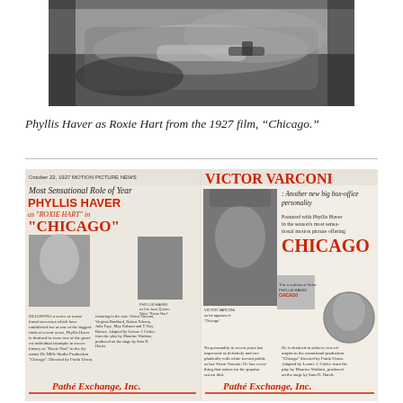[Figure (photo): Black and white photograph of Phyllis Haver as Roxie Hart, lying down with a gun, from the 1927 film Chicago]
Phyllis Haver as Roxie Hart from the 1927 film, "Chicago."
[Figure (photo): Vintage movie trade advertisement page showing Phyllis Haver and Victor Varconi for the film Chicago, with text 'Most Sensational Role of Year', 'PHYLLIS HAVER as ROXIE HART in CHICAGO', 'VICTOR VARCONI - Another new big box-office personality', featuring cast details and Pathe Exchange Inc. branding]